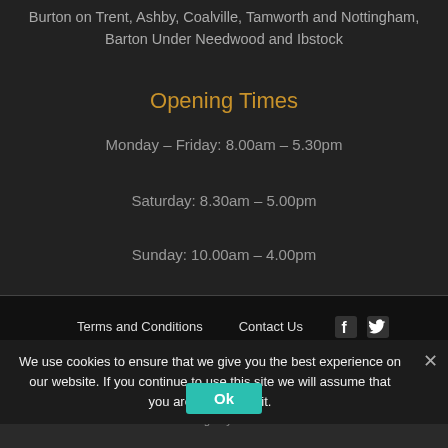Burton on Trent, Ashby, Coalville, Tamworth and Nottingham, Barton Under Needwood and Ibstock
Opening Times
Monday – Friday: 8.00am – 5.30pm
Saturday: 8.30am – 5.00pm
Sunday: 10.00am – 4.00pm
Terms and Conditions   Contact Us
We use cookies to ensure that we give you the best experience on our website. If you continue to use this site we will assume that you are happy with it.
Sitemap
Copyright © Masseys. All rights Reserved.
Design by CADS